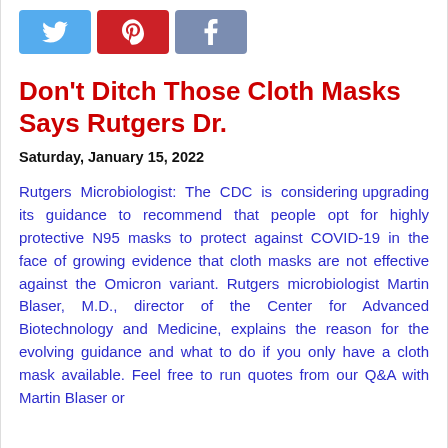[Figure (other): Social media share buttons: Twitter (blue), Pinterest (red), Facebook (grey-blue)]
Don't Ditch Those Cloth Masks Says Rutgers Dr.
Saturday, January 15, 2022
Rutgers Microbiologist: The CDC is considering upgrading its guidance to recommend that people opt for highly protective N95 masks to protect against COVID-19 in the face of growing evidence that cloth masks are not effective against the Omicron variant. Rutgers microbiologist Martin Blaser, M.D., director of the Center for Advanced Biotechnology and Medicine, explains the reason for the evolving guidance and what to do if you only have a cloth mask available. Feel free to run quotes from our Q&A with Martin Blaser or